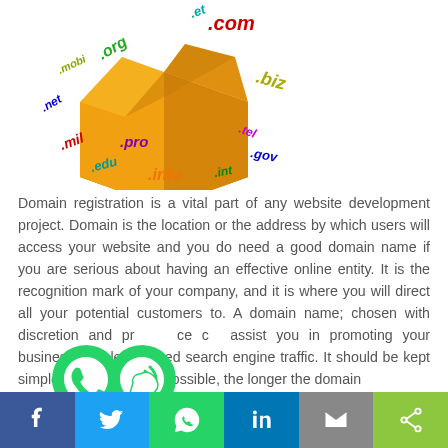[Figure (illustration): An open cardboard box with various domain name extensions floating around it in colorful text: .org, .com, .biz, .info, .pro, .gov, .net, .mil, .edu, .int, .mobi, .tel, .travel]
Domain registration is a vital part of any website development project. Domain is the location or the address by which users will access your website and you do need a good domain name if you are serious about having an effective online entity. It is the recognition mark of your company, and it is where you will direct all your potential customers to. A domain name; chosen with discretion and presence can assist you in promoting your business as it leads to increased search engine traffic. It should be kept simple and as short as possible, the longer the domain
[Figure (illustration): Two overlapping WhatsApp phone icons (green circular logos with phone handset)]
f  [Twitter bird]  [WhatsApp]  in  [envelope]  [share]